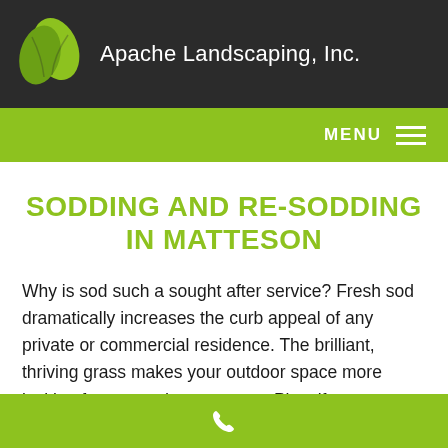Apache Landscaping, Inc.
MENU
SODDING AND RE-SODDING IN MATTESON
Why is sod such a sought after service? Fresh sod dramatically increases the curb appeal of any private or commercial residence. The brilliant, thriving grass makes your outdoor space more inviting for you and your guests. Plus, if you are having any erosion problems, a strong layer of sod might be just the trick you need to